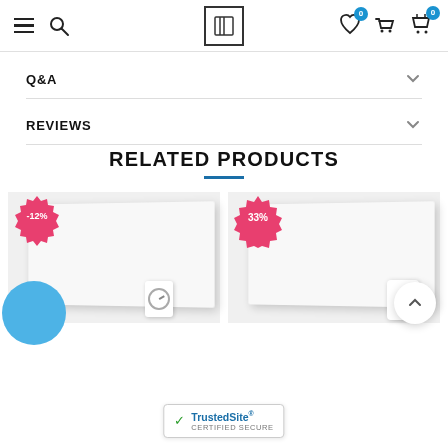[Figure (screenshot): E-commerce website navigation bar with hamburger menu, search icon, logo, wishlist icon with badge 0, delivery icon, and cart icon with badge 0]
Q&A
REVIEWS
RELATED PRODUCTS
[Figure (photo): Product card showing a white panel heater with -12% discount starburst badge, blue color swatch, and thermostat accessory]
[Figure (photo): Product card showing a white panel heater with 33% discount starburst badge and plug-in thermostat accessory]
[Figure (other): TrustedSite Certified Secure badge]